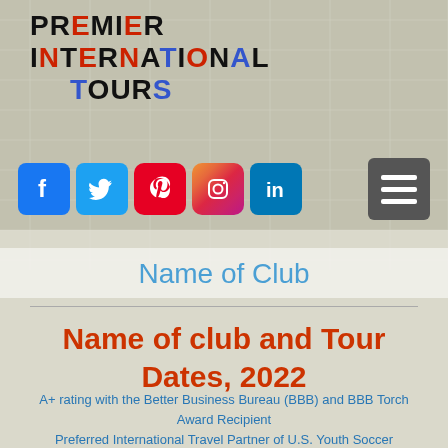PREMIER INTERNATIONAL TOURS
[Figure (logo): Social media icons: Facebook (blue), Twitter (blue), Pinterest (red), Instagram (gradient), LinkedIn (blue), and a hamburger menu button (gray)]
Name of Club
Name of club and Tour Dates, 2022
A+ rating with the Better Business Bureau (BBB) and BBB Torch Award Recipient
Preferred International Travel Partner of U.S. Youth Soccer
Official Partner of the United Soccer Coaches